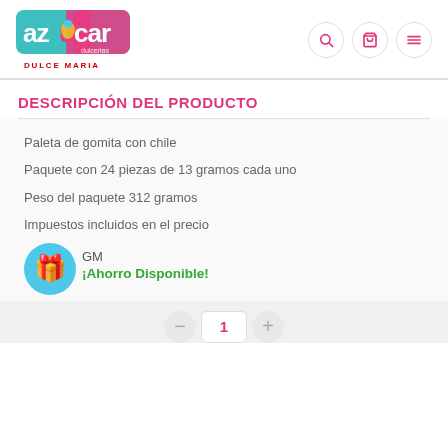[Figure (logo): Azúcar Dulcerías logo with teal/pink background and 'DULCE MARIA' text below]
DESCRIPCIÓN DEL PRODUCTO
Paleta de gomita con chile
Paquete con 24 piezas de 13 gramos cada uno
Peso del paquete 312 gramos
Impuestos incluidos en el precio
GM
¡Ahorro Disponible!